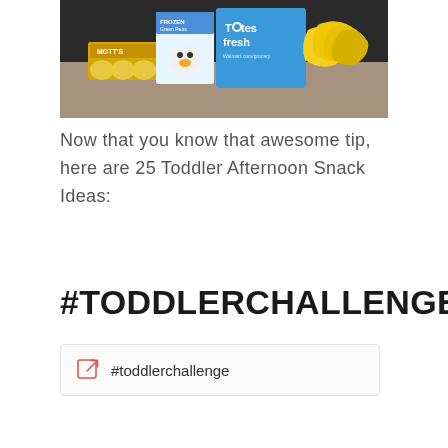[Figure (photo): Photo of grocery items on a kitchen counter: Mott's applesauce cups, Frozen Green Peas box with Olaf character, Totes Fresh blue reusable bag from Walmart, and a bunch of bananas]
Now that you know that awesome tip, here are 25 Toddler Afternoon Snack Ideas:
#TODDLERCHALLENGE
#toddlerchallenge